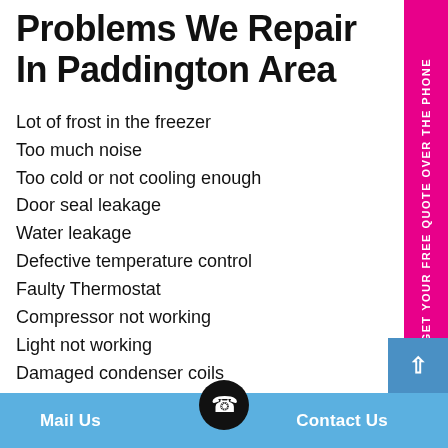Problems We Repair In Paddington Area
Lot of frost in the freezer
Too much noise
Too cold or not cooling enough
Door seal leakage
Water leakage
Defective temperature control
Faulty Thermostat
Compressor not working
Light not working
Damaged condenser coils
And many more...
Our skilled fridge technicians have obtained sufficient
Mail Us   Contact Us